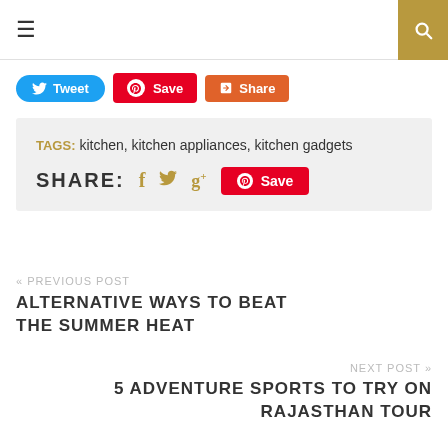≡  [search]
Tweet  Save  Share
TAGS: kitchen, kitchen appliances, kitchen gadgets
SHARE: f t g+ Save
« PREVIOUS POST
ALTERNATIVE WAYS TO BEAT THE SUMMER HEAT
NEXT POST »
5 ADVENTURE SPORTS TO TRY ON RAJASTHAN TOUR